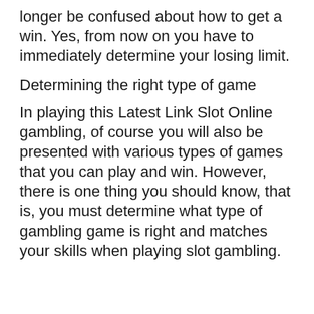longer be confused about how to get a win. Yes, from now on you have to immediately determine your losing limit.
Determining the right type of game
In playing this Latest Link Slot Online gambling, of course you will also be presented with various types of games that you can play and win. However, there is one thing you should know, that is, you must determine what type of gambling game is right and matches your skills when playing slot gambling.